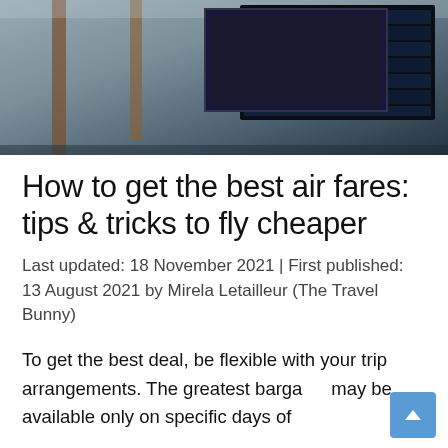[Figure (photo): Airport departures board / interior with wooden columns, stone walls, and a large flight information display board.]
How to get the best air fares: tips & tricks to fly cheaper
Last updated: 18 November 2021 | First published: 13 August 2021 by Mirela Letailleur (The Travel Bunny)
To get the best deal, be flexible with your trip arrangements. The greatest barga may be available only on specific days of